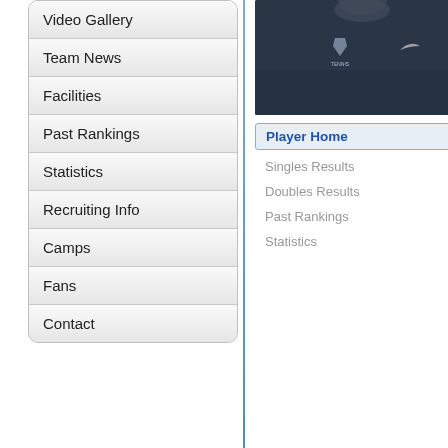Video Gallery
Team News
Facilities
Past Rankings
Statistics
Recruiting Info
Camps
Fans
Contact
[Figure (photo): Player in dark navy Nike tennis jersey with logo on chest]
Player Home
Singles Results
Doubles Results
Past Rankings
Statistics